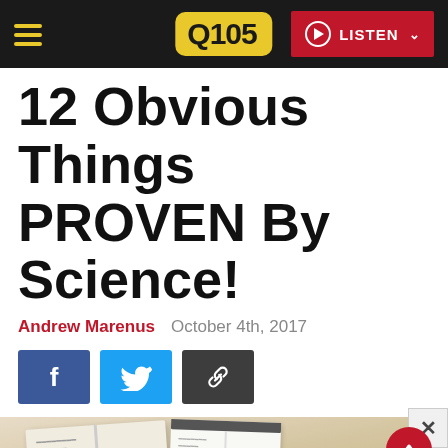Q105 — LISTEN
12 Obvious Things PROVEN By Science!
Andrew Marenus    October 4th, 2017
[Figure (other): Social share buttons: Facebook (blue), Twitter (light blue), Link/copy (dark gray)]
[Figure (photo): Photo of a student studying at a desk with open books, a pencil case, and a tablet/device visible from above]